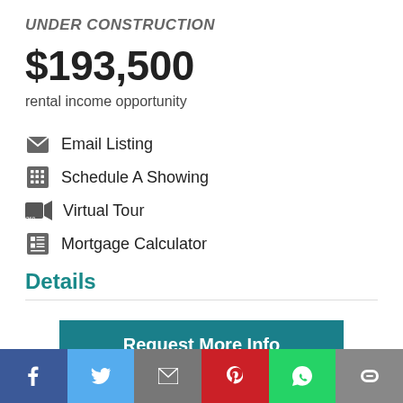UNDER CONSTRUCTION
$193,500
rental income opportunity
Email Listing
Schedule A Showing
Virtual Tour
Mortgage Calculator
Details
Request More Info
f | Twitter | Email | Pinterest | WhatsApp | Link